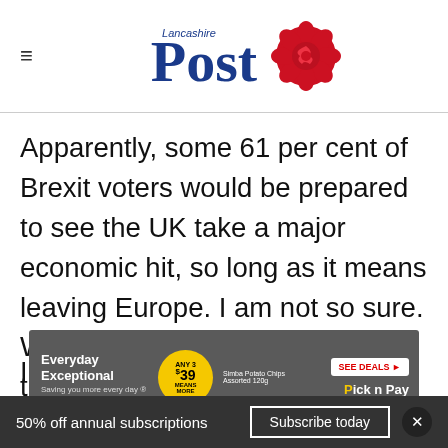Lancashire Post
Apparently, some 61 per cent of Brexit voters would be prepared to see the UK take a major economic hit, so long as it means leaving Europe. I am not so sure. Will they be wrapping themselves in a Union Jack and singing Rule Britannia when the bailiffs come to evict them from their homes after they have lost their jobs? I susp
[Figure (other): Pick n Pay advertisement banner: Everyday Exceptional - Any 3 for $39, Simba Potato Chips Assorted 120g, SEE DEALS button]
50% off annual subscriptions  Subscribe today